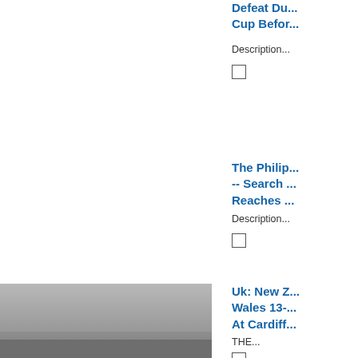Defeat Du... Cup Befor...
Description...
The Philip... -- Search ... Reaches ...
Description...
[Figure (photo): Black and white photograph of a sports scene, likely rugby or football, with players on a field and a crowd in the background]
Uk: New Z... Wales 13-... At Cardiff...
THE...
U.K.: Aust... Dismiss M... Second-D...
Cricket-and...
Russia: 13...